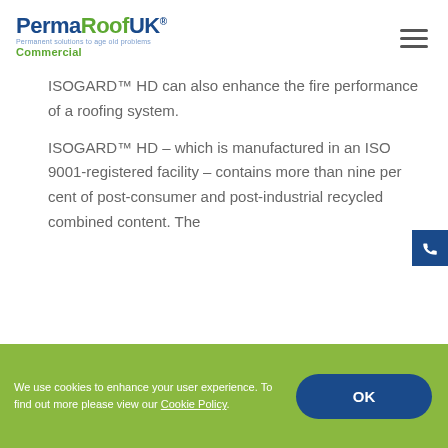PermaRoofUK Commercial
ISOGARD™ HD can also enhance the fire performance of a roofing system.
ISOGARD™ HD – which is manufactured in an ISO 9001-registered facility – contains more than nine per cent of post-consumer and post-industrial recycled combined content. The
We use cookies to enhance your user experience. To find out more please view our Cookie Policy.